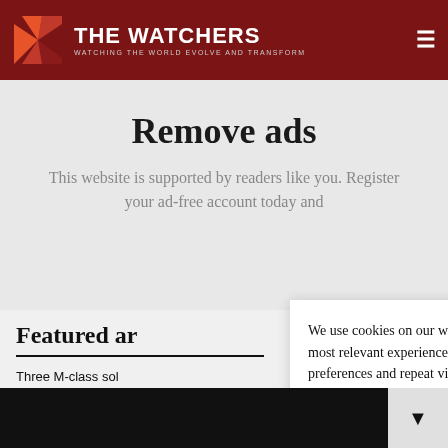[Figure (logo): The Watchers website logo with red geometric icon and white text on dark red header bar]
Remove ads
This website is supported by readers like you. Register your ad-free account today and
We use cookies on our website to give you the most relevant experience by remembering your preferences and repeat visits. By clicking “Accept”, you consent to the use of ALL the cookies.
Do not sell my personal information.
Featured ar
Three M-class sol
3089
August 26, 2022